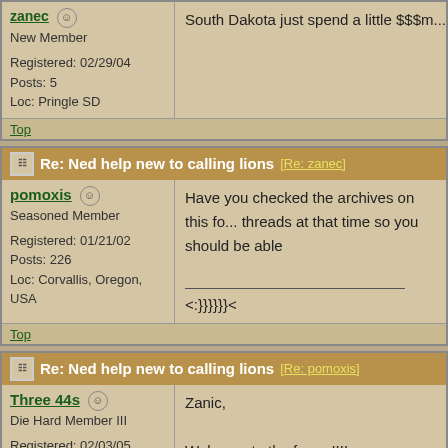zanec - New Member
Registered: 02/29/04
Posts: 5
Loc: Pringle SD
South Dakota just spent a little $$$m... suggestions on how,ware,when,and what
Top
Re: Ned help new to calling lions [Re: zanec]
pomoxis - Seasoned Member
Registered: 01/21/02
Posts: 226
Loc: Corvallis, Oregon, USA
Have you checked the archives on this fo... threads at that time so you should be able
___________________________
<:}}}}}}<
Top
Re: Ned help new to calling lions [Re: pomoxis]
Three 44s - Die Hard Member III
Registered: 02/03/05
Posts: 2711
Loc: Washington St.
Zanic,

Welcome to the forum!!!!

Some avid cougar callers "troll" these "wa...

just like their prey (come to think about it!...

You are now in good company!

Enjoy